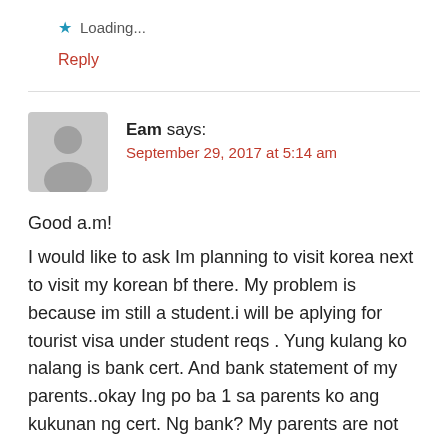Loading...
Reply
Eam says:
September 29, 2017 at 5:14 am
Good a.m!
I would like to ask Im planning to visit korea next to visit my korean bf there. My problem is because im still a student.i will be aplying for tourist visa under student reqs . Yung kulang ko nalang is bank cert. And bank statement of my parents..okay Ing po ba 1 sa parents ko ang kukunan ng cert. Ng bank? My parents are not